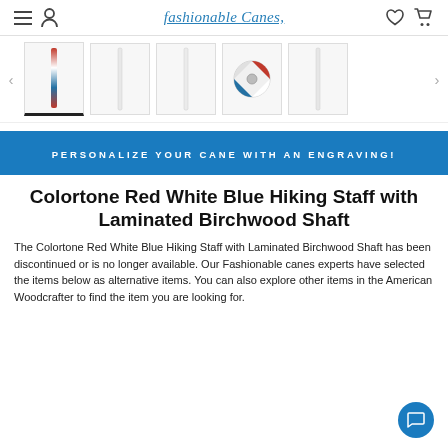fashionable Canes
[Figure (screenshot): Product image carousel showing a Colortone Red White Blue Hiking Staff from multiple angles, including a close-up of the red white blue decorative collar and the full white/blue shaft. Navigation arrows on left and right.]
PERSONALIZE YOUR CANE WITH AN ENGRAVING!
Colortone Red White Blue Hiking Staff with Laminated Birchwood Shaft
The Colortone Red White Blue Hiking Staff with Laminated Birchwood Shaft has been discontinued or is no longer available. Our Fashionable canes experts have selected the items below as alternative items. You can also explore other items in the American Woodcrafter to find the item you are looking for.